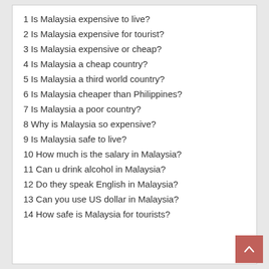1 Is Malaysia expensive to live?
2 Is Malaysia expensive for tourist?
3 Is Malaysia expensive or cheap?
4 Is Malaysia a cheap country?
5 Is Malaysia a third world country?
6 Is Malaysia cheaper than Philippines?
7 Is Malaysia a poor country?
8 Why is Malaysia so expensive?
9 Is Malaysia safe to live?
10 How much is the salary in Malaysia?
11 Can u drink alcohol in Malaysia?
12 Do they speak English in Malaysia?
13 Can you use US dollar in Malaysia?
14 How safe is Malaysia for tourists?